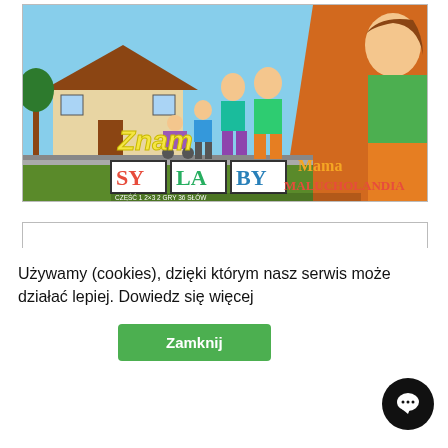[Figure (illustration): Colorful educational game cover: 'Znam SYLABY' (I Know Syllables) with cartoon family, house, text SY LA BY in colored blocks, Mama Malucholandia branding, 2 GRY 36 SŁÓW]
[Figure (photo): mTalenti product box - white rectangular box with green mTalenti logo, described as 'WYKONYWANIE PLANU']
Używamy (cookies), dzięki którym nasz serwis może działać lepiej. Dowiedz się więcej
Zamknij